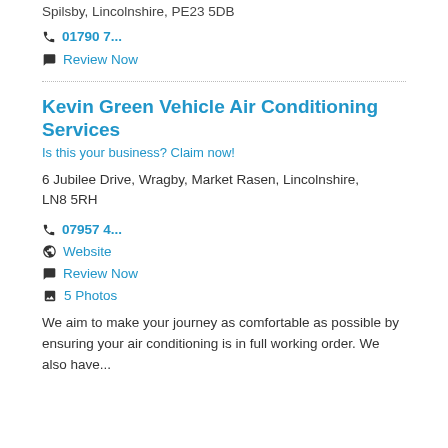Spilsby, Lincolnshire, PE23 5DB
📞 01790 7...
💬 Review Now
Kevin Green Vehicle Air Conditioning Services
Is this your business? Claim now!
6 Jubilee Drive, Wragby, Market Rasen, Lincolnshire, LN8 5RH
📞 07957 4...
🌐 Website
💬 Review Now
🖼 5 Photos
We aim to make your journey as comfortable as possible by ensuring your air conditioning is in full working order. We also have...